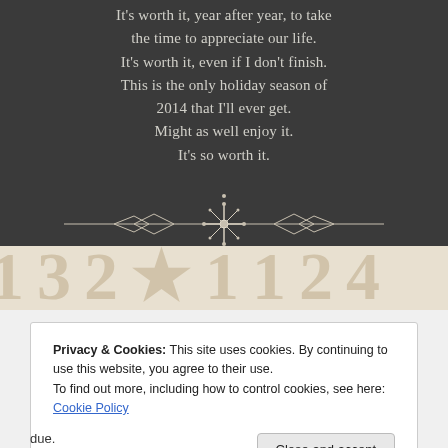[Figure (illustration): Chalkboard-style decorative image with white text quote about appreciating life and the holiday season of 2014, featuring an ornate snowflake divider, with a calendar number strip at the bottom in a beige/tan color.]
Privacy & Cookies: This site uses cookies. By continuing to use this website, you agree to their use.
To find out more, including how to control cookies, see here: Cookie Policy
Close and accept
due.